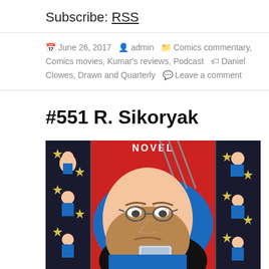Subscribe: RSS
June 26, 2017  admin  Comics commentary, Comics movies, Kumar's reviews, Podcast  Daniel Clowes, Drawn and Quarterly  Leave a comment
#551 R. Sikoryak
[Figure (illustration): Comic book style illustration showing a bearded man with glasses in the foreground holding a phone, with Wolverine claw marks in the background, surrounded by various cartoon characters on left and right panels, red, blue, and black color scheme, 'NOVEL' text visible at top.]